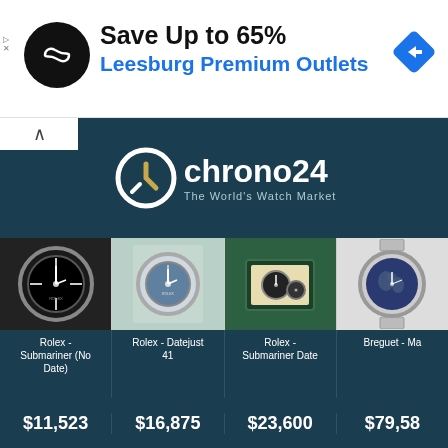[Figure (screenshot): Advertisement banner: black circle logo with infinity/link icon, text 'Save Up to 65%' and 'Leesburg Premium Outlets' in blue, blue diamond navigation icon on right]
[Figure (logo): Chrono24 logo - The World's Watch Market, white text on dark teal background]
[Figure (photo): Four luxury watch product photos: Rolex Submariner (No Date), Rolex Datejust 41, Rolex Submariner Date in box, Breguet watch]
Rolex - Submariner (No Date)
$11,523
Rolex - Datejust 41
$16,875
Rolex - Submariner Date
$23,600
Breguet - Ma
$79,58